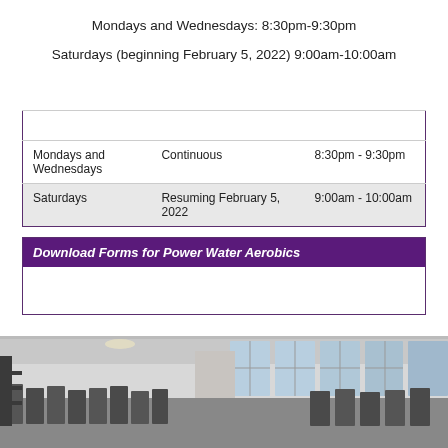Mondays and Wednesdays: 8:30pm-9:30pm
Saturdays (beginning February 5, 2022) 9:00am-10:00am
| Dates and Times for Power Water Aerobics |  |  |
| --- | --- | --- |
| Mondays and Wednesdays | Continuous | 8:30pm - 9:30pm |
| Saturdays | Resuming February 5, 2022 | 9:00am - 10:00am |
| Download Forms for Power Water Aerobics |  |  |
| --- | --- | --- |
|  |
[Figure (photo): Interior photo of a gym/fitness center with treadmills and exercise equipment lined up near large windows]